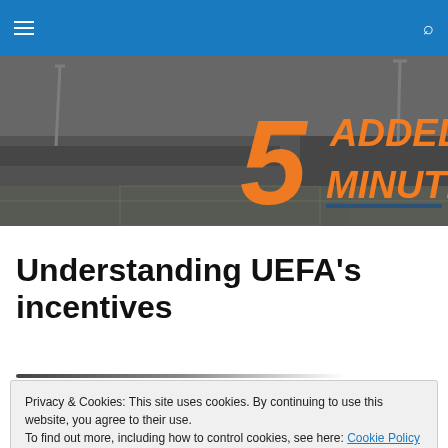5 ADDED MINUTES — navigation bar
[Figure (photo): Black and white aerial view of a football stadium with the '5 ADDED MINUTES' logo overlaid in orange italic text on the right side]
Understanding UEFA’s incentives
Privacy & Cookies: This site uses cookies. By continuing to use this website, you agree to their use.
To find out more, including how to control cookies, see here: Cookie Policy
Close and accept